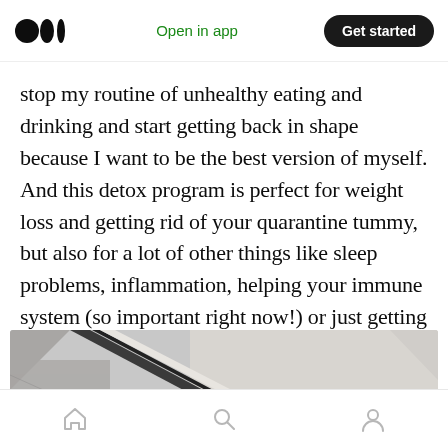Open in app | Get started
stop my routine of unhealthy eating and drinking and start getting back in shape because I want to be the best version of myself. And this detox program is perfect for weight loss and getting rid of your quarantine tummy, but also for a lot of other things like sleep problems, inflammation, helping your immune system (so important right now!) or just getting your body on a healthy routine.
[Figure (photo): Partial view of what appears to be a ceiling or architectural element with dark lines against a light gray background, cropped at the bottom of the page.]